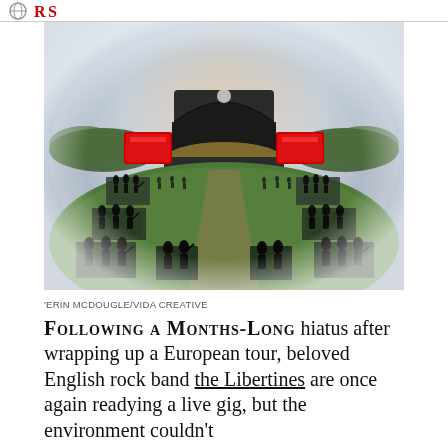[Figure (illustration): Illustration of an outdoor concert venue from an aerial perspective. A large arch-roofed stage glows with amber lights at center, flanked by two red LED screens. Green grass spreads out in front of the stage, divided into rectangular fenced enclosures arranged in rows. Silhouettes of concert-goers stand on raised platforms in each enclosure, socially distanced. Trees line the background under a dusky sky with blues, grays, and pink-orange hues near the horizon.]
'ERIN MCDOUGLE/VIDA CREATIVE
FOLLOWING A MONTHS-LONG hiatus after wrapping up a European tour, beloved English rock band the Libertines are once again readying a live gig, but the environment couldn't